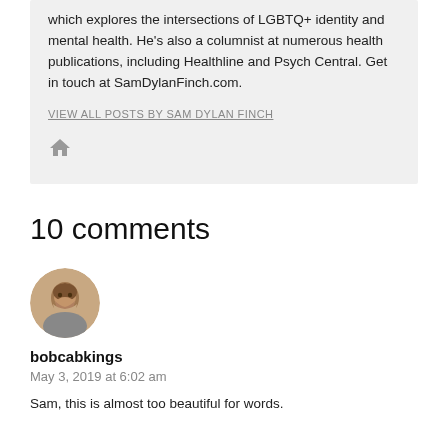which explores the intersections of LGBTQ+ identity and mental health. He's also a columnist at numerous health publications, including Healthline and Psych Central. Get in touch at SamDylanFinch.com.
VIEW ALL POSTS BY SAM DYLAN FINCH
10 comments
[Figure (photo): Circular avatar photo of commenter bobcabkings, showing an older person with beard]
bobcabkings
May 3, 2019 at 6:02 am
Sam, this is almost too beautiful for words.